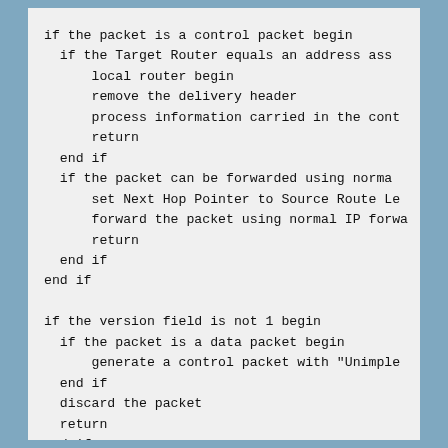if the packet is a control packet begin
  if the Target Router equals an address ass
      local router begin
      remove the delivery header
      process information carried in the cont
      return
  end if
  if the packet can be forwarded using norma
      set Next Hop Pointer to Source Route Le
      forward the packet using normal IP forwa
      return
  end if
end if

if the version field is not 1 begin
  if the packet is a data packet begin
      generate a control packet with "Unimple
  end if
  discard the packet
  return
end if